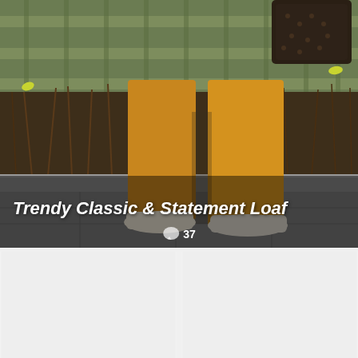[Figure (photo): A person wearing mustard/amber wide-leg trousers, white loafer shoes, and carrying a dark monogram bag, standing on a paved street in front of a wooden fence with garden plants. The lower portion of the body is visible.]
Trendy Classic & Statement Loaf
37
[Figure (photo): Left bottom card — partially visible image, light gray placeholder]
[Figure (photo): Right bottom card — partially visible image, light gray placeholder]